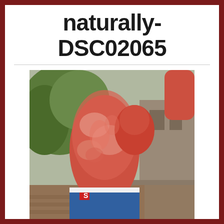naturally-DSC02065
[Figure (photo): A person showing their upper arm and torso with severe red rash or skin condition (possibly sunburn or urticaria), standing outdoors on a deck near green foliage and a house.]
by Matt Ludwig on August 19, 2017 | — Leave a